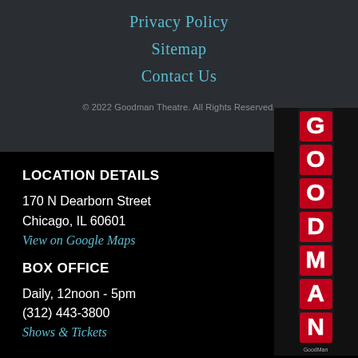Privacy Policy
Sitemap
Contact Us
© 2022 Goodman Theatre. All Rights Reserved.
LOCATION DETAILS
170 N Dearborn Street
Chicago, IL 60601
View on Google Maps
BOX OFFICE
Daily, 12noon - 5pm
(312) 443-3800
Shows & Tickets
[Figure (photo): Vertical neon GOODMAN sign on a building exterior at night, red lettering on a pole]